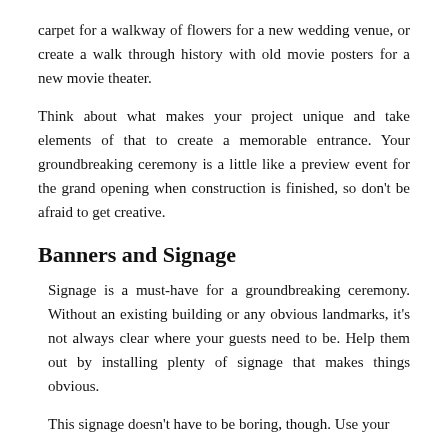carpet for a walkway of flowers for a new wedding venue, or create a walk through history with old movie posters for a new movie theater.
Think about what makes your project unique and take elements of that to create a memorable entrance. Your groundbreaking ceremony is a little like a preview event for the grand opening when construction is finished, so don't be afraid to get creative.
Banners and Signage
Signage is a must-have for a groundbreaking ceremony. Without an existing building or any obvious landmarks, it's not always clear where your guests need to be. Help them out by installing plenty of signage that makes things obvious.
This signage doesn't have to be boring, though. Use your